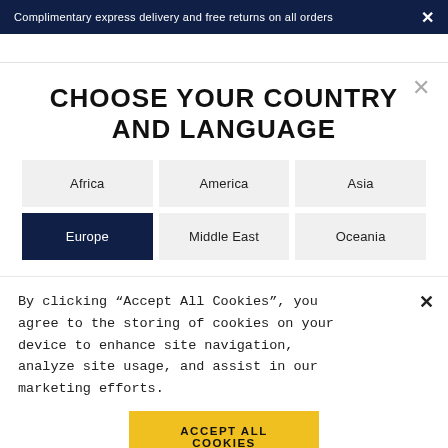Complimentary express delivery and free returns on all orders
CHOOSE YOUR COUNTRY AND LANGUAGE
Africa
America
Asia
Europe
Middle East
Oceania
By clicking “Accept All Cookies”, you agree to the storing of cookies on your device to enhance site navigation, analyze site usage, and assist in our marketing efforts.
ACCEPT ALL COOKIES